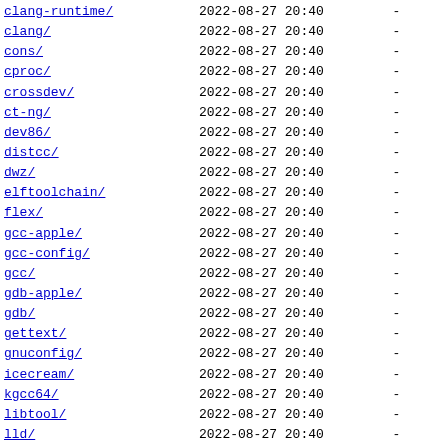clang/  2022-08-27 20:40  -
cons/  2022-08-27 20:40  -
cproc/  2022-08-27 20:40  -
crossdev/  2022-08-27 20:40  -
ct-ng/  2022-08-27 20:40  -
dev86/  2022-08-27 20:40  -
distcc/  2022-08-27 20:40  -
dwz/  2022-08-27 20:40  -
elftoolchain/  2022-08-27 20:40  -
flex/  2022-08-27 20:40  -
gcc-apple/  2022-08-27 20:40  -
gcc-config/  2022-08-27 20:40  -
gcc/  2022-08-27 20:40  -
gdb-apple/  2022-08-27 20:40  -
gdb/  2022-08-27 20:40  -
gettext/  2022-08-27 20:40  -
gnuconfig/  2022-08-27 20:40  -
icecream/  2022-08-27 20:40  -
kgcc64/  2022-08-27 20:40  -
libtool/  2022-08-27 20:40  -
lld/  2022-08-27 20:40  -
llvm-common/  2022-08-27 20:40  -
llvm-roc/  2022-08-27 20:40  -
llvm/  2022-08-27 20:40  -
llvmgold/  2022-08-27 20:40  -
m4/  2022-08-27 20:40  -
make/  2022-08-27 20:40  -
mold/  2022-08-27 20:40  -
multilib-gcc-wrapper/  2022-08-27 20:40  -
native-cctools/  2022-08-27 20:40  -